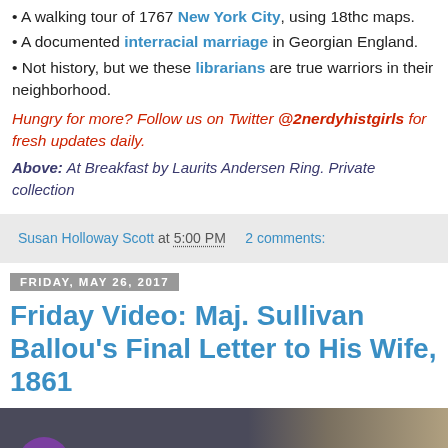A walking tour of 1767 New York City, using 18thc maps.
A documented interracial marriage in Georgian England.
Not history, but we these librarians are true warriors in their neighborhood.
Hungry for more? Follow us on Twitter @2nerdyhistgirls for fresh updates daily.
Above: At Breakfast by Laurits Andersen Ring. Private collection
Susan Holloway Scott at 5:00 PM   2 comments:
Friday, May 26, 2017
Friday Video: Maj. Sullivan Ballou's Final Letter to His Wife, 1861
[Figure (screenshot): Video thumbnail showing a historical photograph with a purple avatar circle containing the letter J and the text 'Sullivan Ballou Letter and Ashokan Farewell']